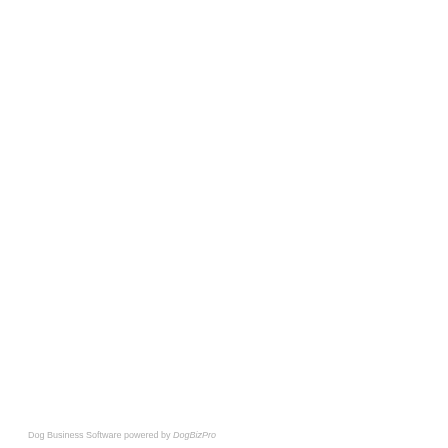Dog Business Software powered by DogBizPro